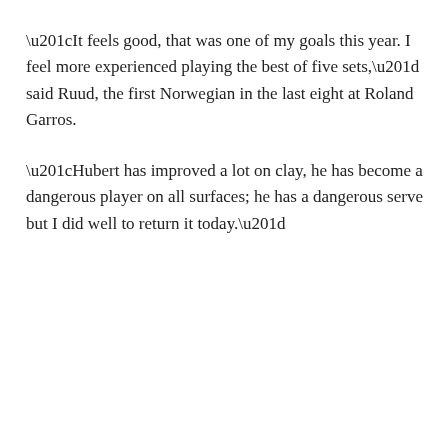“It feels good, that was one of my goals this year. I feel more experienced playing the best of five sets,” said Ruud, the first Norwegian in the last eight at Roland Garros.
“Hubert has improved a lot on clay, he has become a dangerous player on all surfaces; he has a dangerous serve but I did well to return it today.”